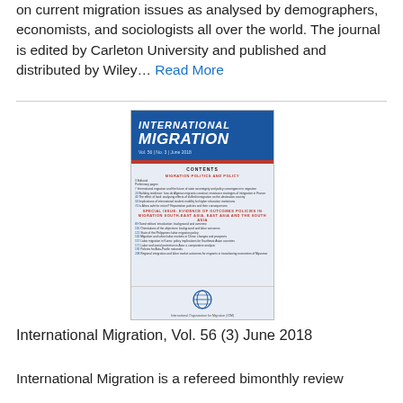on current migration issues as analysed by demographers, economists, and sociologists all over the world. The journal is edited by Carleton University and published and distributed by Wiley… Read More
[Figure (illustration): Cover of International Migration journal, Vol. 56 No. 3 June 2018. Blue header with title 'INTERNATIONAL MIGRATION', red bar, light blue contents page listing articles.]
International Migration, Vol. 56 (3) June 2018
International Migration is a refereed bimonthly review